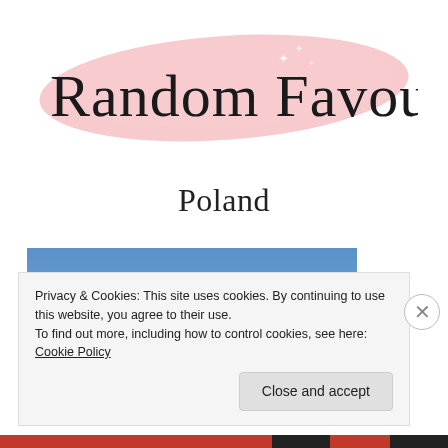[Figure (logo): Random Favourites blog logo — cursive script text 'Random Favourites' on a pink brushstroke background with small star decorations]
Poland
[Figure (photo): Photo of a building or tower with a spire against a clear blue sky, taken from a low angle]
Privacy & Cookies: This site uses cookies. By continuing to use this website, you agree to their use.
To find out more, including how to control cookies, see here: Cookie Policy
Close and accept